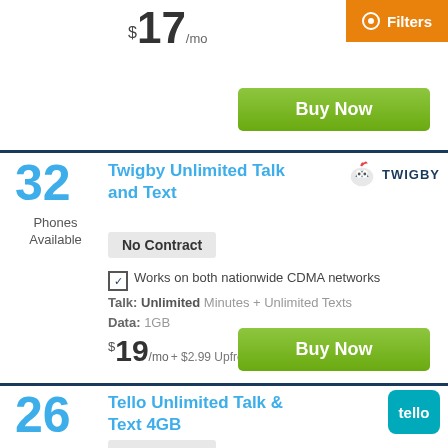$17/mo
Filters
Buy Now
32
Phones Available
Twigby Unlimited Talk and Text
[Figure (logo): Twigby logo with bird icon]
No Contract
Works on both nationwide CDMA networks
Talk: Unlimited Minutes + Unlimited Texts
Data: 1GB
$19/mo + $2.99 Upfront
Buy Now
26
Phones Available
Tello Unlimited Talk & Text 4GB
[Figure (logo): Tello logo - teal rounded square with tello text]
No Contract